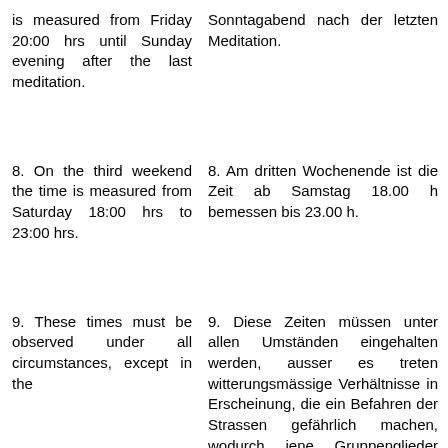is measured from Friday 20:00 hrs until Sunday evening after the last meditation.
Sonntagabend nach der letzten Meditation.
8. On the third weekend the time is measured from Saturday 18:00 hrs to 23:00 hrs.
8. Am dritten Wochenende ist die Zeit ab Samstag 18.00 h bemessen bis 23.00 h.
9. These times must be observed under all circumstances, except in the
9. Diese Zeiten müssen unter allen Umständen eingehalten werden, ausser es treten witterungsmässige Verhältnisse in Erscheinung, die ein Befahren der Strassen gefährlich machen, wodurch jene Gruppenglieder früher aus der